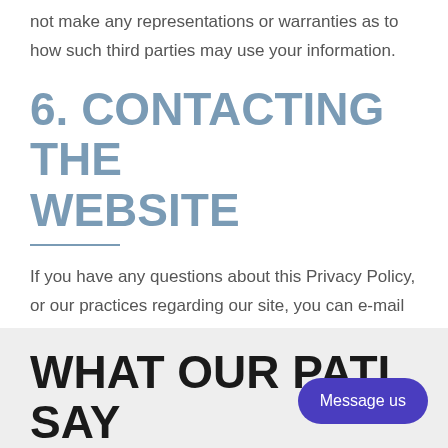not make any representations or warranties as to how such third parties may use your information.
6. CONTACTING THE WEBSITE
If you have any questions about this Privacy Policy, or our practices regarding our site, you can e-mail us using our contact us form.
WHAT OUR PATI SAY